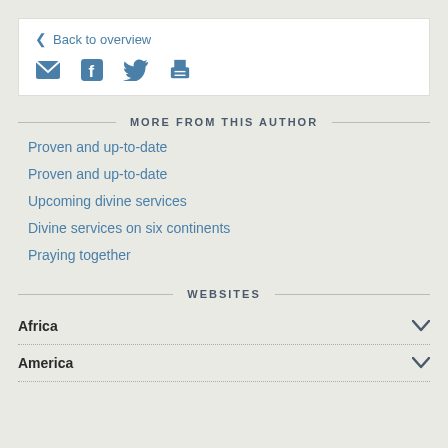< Back to overview
[Figure (infographic): Social sharing icons: email, Facebook, Twitter, print]
MORE FROM THIS AUTHOR
Proven and up-to-date
Proven and up-to-date
Upcoming divine services
Divine services on six continents
Praying together
WEBSITES
Africa
America